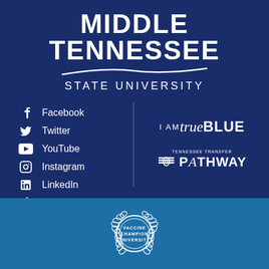[Figure (logo): Middle Tennessee State University logo with large bold white text MIDDLE TENNESSEE with a swoosh line beneath, then STATE UNIVERSITY in spaced letters]
Facebook
Twitter
YouTube
Instagram
LinkedIn
TikTok
[Figure (logo): I AM trueBLUE logo in white text]
[Figure (logo): Tennessee Transfer PATHWAY logo with flag icon and bold white text]
[Figure (logo): Vaccine Champion University badge/seal in white on blue background]